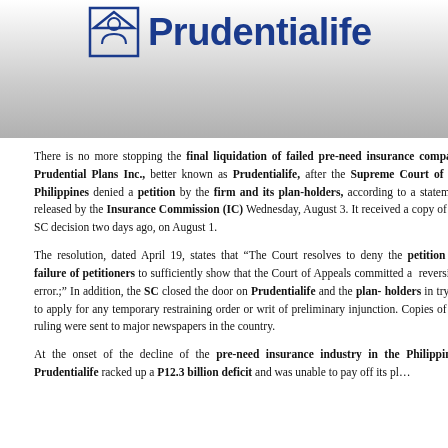[Figure (logo): Prudentialife logo with house/person icon and bold blue text 'Prudentialife' on a silver gradient background]
There is no more stopping the final liquidation of failed pre-need insurance company Prudential Plans Inc., better known as Prudentialife, after the Supreme Court of the Philippines denied a petition by the firm and its plan-holders, according to a statement released by the Insurance Commission (IC) Wednesday, August 3. It received a copy of the SC decision two days ago, on August 1.
The resolution, dated April 19, states that “The Court resolves to deny the petition for failure of petitioners to sufficiently show that the Court of Appeals committed a reversible error.;" In addition, the SC closed the door on Prudentialife and the plan-holders in trying to apply for any temporary restraining order or writ of preliminary injunction. Copies of the ruling were sent to major newspapers in the country.
At the onset of the decline of the pre-need insurance industry in the Philippines, Prudentialife racked up a P12.3 billion deficit and was unable to pay off its pl